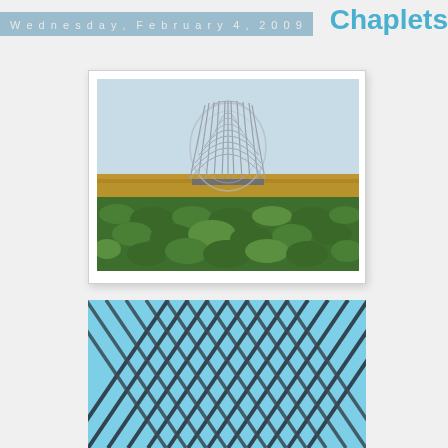Wednesday, February 4, 2009
Chaplets
[Figure (photo): A large wire-frame or lattice-structured architectural sculpture resembling a basket or dome shape, standing in an open field with green crops in the foreground and a flat horizon in the background under a light sky.]
[Figure (photo): Close-up view of diagonal steel rods or structural members arranged in a criss-cross lattice pattern against a bright blue sky, appearing to be part of a large architectural structure or sculpture.]